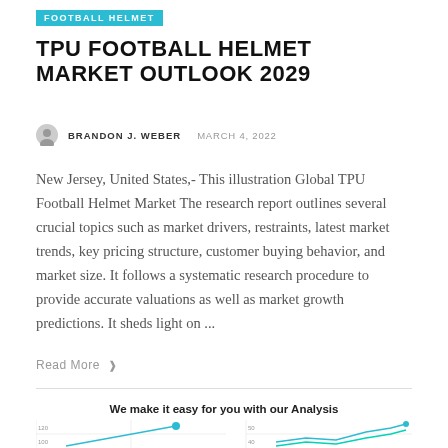FOOTBALL HELMET
TPU FOOTBALL HELMET MARKET OUTLOOK 2029
BRANDON J. WEBER  MARCH 4, 2022
New Jersey, United States,- This illustration Global TPU Football Helmet Market The research report outlines several crucial topics such as market drivers, restraints, latest market trends, key pricing structure, customer buying behavior, and market size. It follows a systematic research procedure to provide accurate valuations as well as market growth predictions. It sheds light on ...
Read More ❯
We make it easy for you with our Analysis
[Figure (line-chart): Partial line charts visible at bottom of page showing trend data with gridlines and data points]